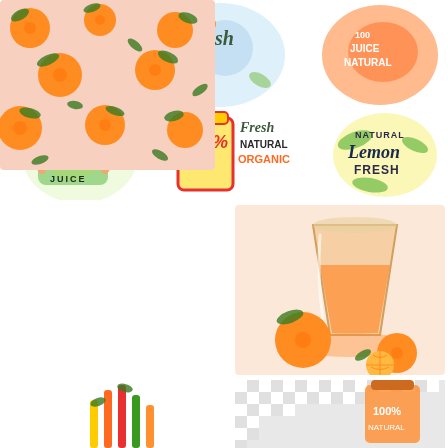[Figure (illustration): Grid of fruit juice logo stickers (top row: citrus 100% juice, fresh 100 blueberry, 100 juice natural orange) and (middle row: kiwi juice watercolor, 100% fresh natural organic jar, natural lemon fresh) illustrations on white background]
[Figure (illustration): Pink background pattern with orange fruits (mandarins/oranges) and green leaves scattered across]
[Figure (illustration): Glass of orange juice with whole and halved oranges/mandarins beside it on a pink background]
[Figure (illustration): Partial bottom-left illustration showing colorful straws or decorative elements (cut off)]
[Figure (illustration): Partial bottom-right illustration on checkered/transparent background showing a jar of juice (cut off)]